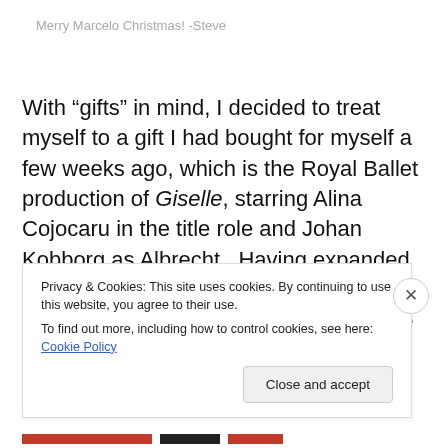Merry Marcelo Christmas! -Steve
With “gifts” in mind, I decided to treat myself to a gift I had bought for myself a few weeks ago, which is the Royal Ballet production of Giselle, starring Alina Cojocaru in the title role and Johan Kobborg as Albrecht.  Having expanded my ballet DVD collection to a substantial three, Giselle was put in queue because of Swan Lake month
Privacy & Cookies: This site uses cookies. By continuing to use this website, you agree to their use.
To find out more, including how to control cookies, see here: Cookie Policy